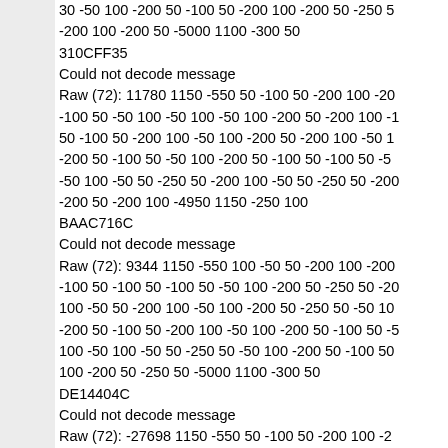30 -50 100 -200 50 -100 50 -200 100 -200 50 -250 50
-200 100 -200 50 -5000 1100 -300 50
310CFF35
Could not decode message
Raw (72): 11780 1150 -550 50 -100 50 -200 100 -200 -100 50 -50 100 -50 100 -50 100 -200 50 -200 100 -1 50 -100 50 -200 100 -50 100 -200 50 -200 100 -50 1 -200 50 -100 50 -50 100 -200 50 -100 50 -100 50 -5 -50 100 -50 50 -250 50 -200 100 -50 50 -250 50 -200 -200 50 -200 100 -4950 1150 -250 100
BAAC716C
Could not decode message
Raw (72): 9344 1150 -550 100 -50 50 -200 100 -200 -100 50 -100 50 -100 50 -50 100 -200 50 -250 50 -2 100 -50 50 -200 100 -50 100 -200 50 -250 50 -50 10 -200 50 -100 50 -200 100 -50 100 -200 50 -100 50 -5 100 -50 100 -50 50 -250 50 -50 100 -200 50 -100 50 100 -200 50 -250 50 -5000 1100 -300 50
DE14404C
Could not decode message
Raw (72): -27698 1150 -550 50 -100 50 -200 100 -2 -100 50 -50 100 -50 100 -50 50 -250 50 -200 100 -25 -100 50 -200 100 -50 50 -250 50 -200 100 -50 50 -25 -50 100 -200 50 -100 50 -200 100 -50 100 -50 100